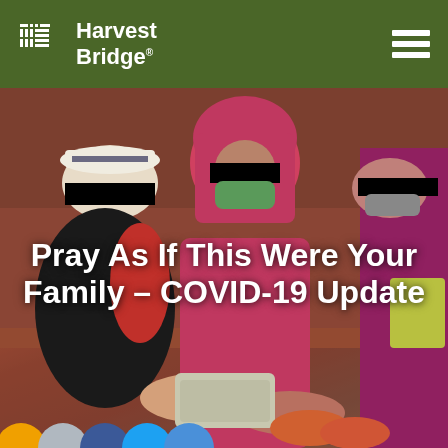Harvest Bridge
[Figure (photo): Photo of people wearing face masks and head coverings sitting together, with faces redacted by black bars, passing food packages. A woman in a white hat and black jacket hands a wrapped food item to women in pink and magenta clothing and green surgical masks.]
Pray As If This Were Your Family – COVID-19 Update